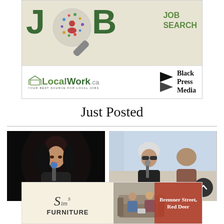[Figure (advertisement): Job Search advertisement banner with 'JOB' in large green letters, a magnifying glass with social media icons, 'JOB SEARCH' text, LocalWork.ca logo, and Black Press Media logo]
Just Posted
[Figure (photo): Photo of a dark-haired woman singing into a microphone on a dark stage]
[Figure (photo): Photo of a person with white hair singing into a microphone outdoors in daylight]
[Figure (advertisement): Sims Furniture advertisement with logo on left, sofa photo in center, and 'Bremner Street, Red Deer' text on red overlay on right]